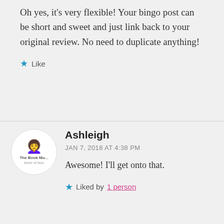Oh yes, it's very flexible! Your bingo post can be short and sweet and just link back to your original review. No need to duplicate anything!
Like
Ashleigh
JAN 7, 2018 AT 4:38 PM
Awesome! I'll get onto that.
Liked by 1 person